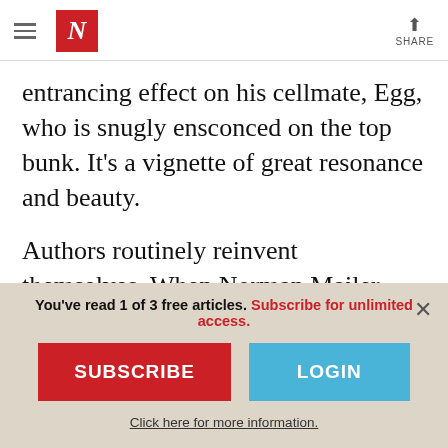N | SHARE
entrancing effect on his cellmate, Egg, who is snugly ensconced on the top bunk. It's a vignette of great resonance and beauty.
Authors routinely reinvent themselves. When Norman Mailer published his swaggering collection Advertisements for Myself in 1959, few would have expected him, twenty years later, to win a Pulitzer Prize for a thousand-page
You've read 1 of 3 free articles. Subscribe for unlimited access.
SUBSCRIBE
LOGIN
Click here for more information.